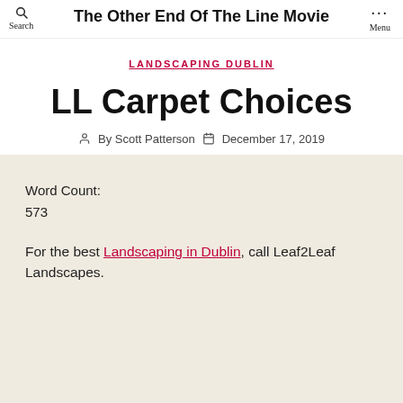The Other End Of The Line Movie
LANDSCAPING DUBLIN
LL Carpet Choices
By Scott Patterson  December 17, 2019
Word Count:
573
For the best Landscaping in Dublin, call Leaf2Leaf Landscapes.